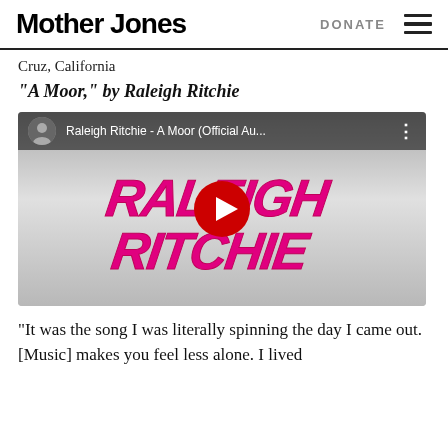Mother Jones | DONATE
Cruz, California
“A Moor,” by Raleigh Ritchie
[Figure (screenshot): YouTube video embed showing Raleigh Ritchie - A Moor (Official Au...) with a play button and the Raleigh Ritchie logo in pink/magenta on a grey gradient background]
“It was the song I was literally spinning the day I came out. [Music] makes you feel less alone. I lived